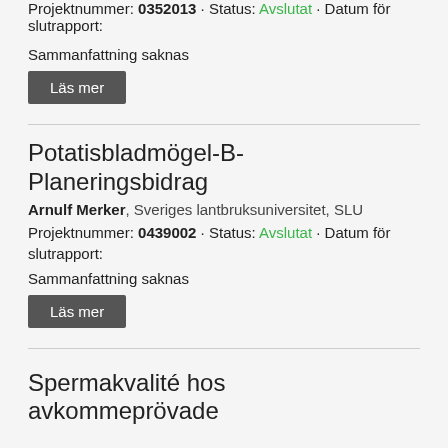Projektnummer: 0352013 · Status: Avslutat · Datum för slutrapport:
Sammanfattning saknas
Läs mer
Potatisbladmögel-B-Planeringsbidrag
Arnulf Merker, Sveriges lantbruksuniversitet, SLU
Projektnummer: 0439002 · Status: Avslutat · Datum för slutrapport:
Sammanfattning saknas
Läs mer
Spermakvalité hos avkommeprövade